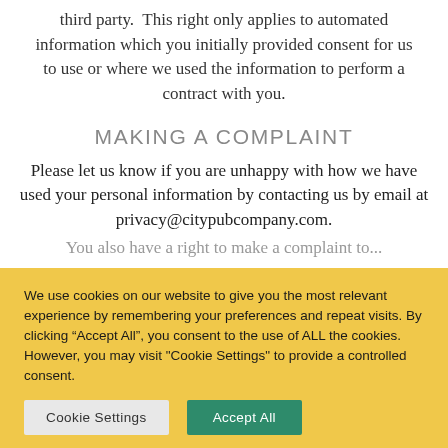third party.  This right only applies to automated information which you initially provided consent for us to use or where we used the information to perform a contract with you.
MAKING A COMPLAINT
Please let us know if you are unhappy with how we have used your personal information by contacting us by email at privacy@citypubcompany.com.
You also have a right to make a complaint to...
We use cookies on our website to give you the most relevant experience by remembering your preferences and repeat visits. By clicking “Accept All”, you consent to the use of ALL the cookies. However, you may visit "Cookie Settings" to provide a controlled consent.